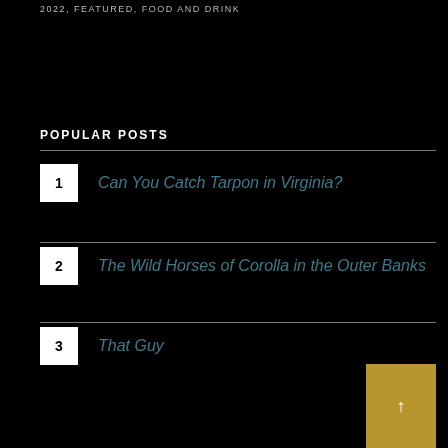2022, FEATURED, FOOD AND DRINK
POPULAR POSTS
1 Can You Catch Tarpon in Virginia?
2 The Wild Horses of Corolla in the Outer Banks
3 That Guy